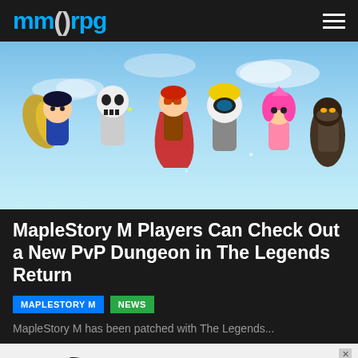MMORPG
[Figure (illustration): MapleStory M game characters including multiple animated chibi-style heroes in colorful costumes against a light blue sky background]
MapleStory M Players Can Check Out a New PvP Dungeon in The Legends Return
MAPLESTORY M
NEWS
MapleStory M has been patched with The Legends...
[Figure (other): Circular loading spinner icon, mostly black arc with a light grey portion at bottom-left]
Crowfall Launches, Rogue Company Switchblade, LoL Akshan, & More!